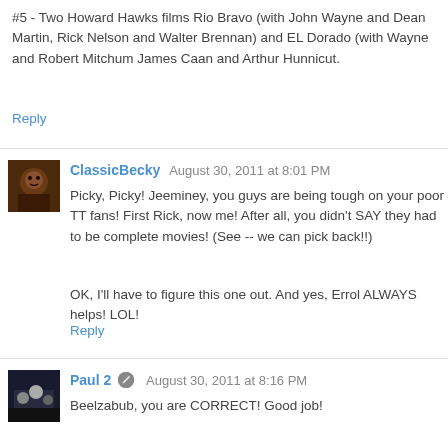#5 - Two Howard Hawks films Rio Bravo (with John Wayne and Dean Martin, Rick Nelson and Walter Brennan) and EL Dorado (with Wayne and Robert Mitchum James Caan and Arthur Hunnicut.
Reply
ClassicBecky August 30, 2011 at 8:01 PM
Picky, Picky! Jeeminey, you guys are being tough on your poor TT fans! First Rick, now me! After all, you didn't SAY they had to be complete movies! (See -- we can pick back!!)
OK, I'll have to figure this one out. And yes, Errol ALWAYS helps! LOL!
Reply
Paul 2 August 30, 2011 at 8:16 PM
Beelzabub, you are CORRECT! Good job!